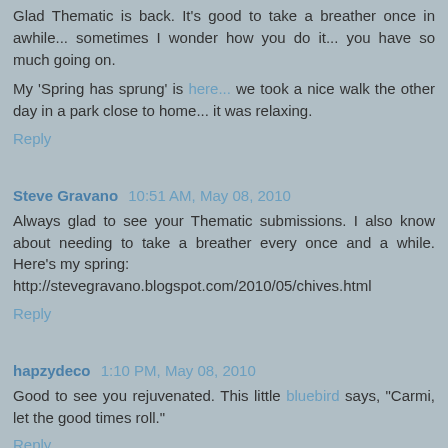Glad Thematic is back. It's good to take a breather once in awhile... sometimes I wonder how you do it... you have so much going on.
My 'Spring has sprung' is here... we took a nice walk the other day in a park close to home... it was relaxing.
Reply
Steve Gravano  10:51 AM, May 08, 2010
Always glad to see your Thematic submissions. I also know about needing to take a breather every once and a while. Here's my spring: http://stevegravano.blogspot.com/2010/05/chives.html
Reply
hapzydeco  1:10 PM, May 08, 2010
Good to see you rejuvenated. This little bluebird says, "Carmi, let the good times roll."
Reply